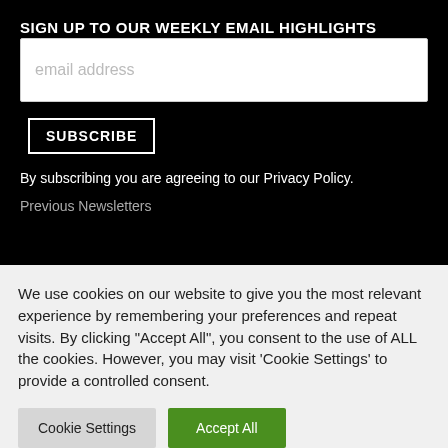SIGN UP TO OUR WEEKLY EMAIL HIGHLIGHTS
email address
SUBSCRIBE
By subscribing you are agreeing to our Privacy Policy.
Previous Newsletters
We use cookies on our website to give you the most relevant experience by remembering your preferences and repeat visits. By clicking "Accept All", you consent to the use of ALL the cookies. However, you may visit 'Cookie Settings' to provide a controlled consent.
Cookie Settings
Accept All